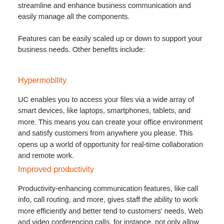streamline and enhance business communication and easily manage all the components.
Features can be easily scaled up or down to support your business needs. Other benefits include:
Hypermobility
UC enables you to access your files via a wide array of smart devices, like laptops, smartphones, tablets, and more. This means you can create your office environment and satisfy customers from anywhere you please. This opens up a world of opportunity for real-time collaboration and remote work.
Improved productivity
Productivity-enhancing communication features, like call info, call routing, and more, gives staff the ability to work more efficiently and better tend to customers' needs. Web and video conferencing calls, for instance, not only allow for real-time interactivity, but also for better